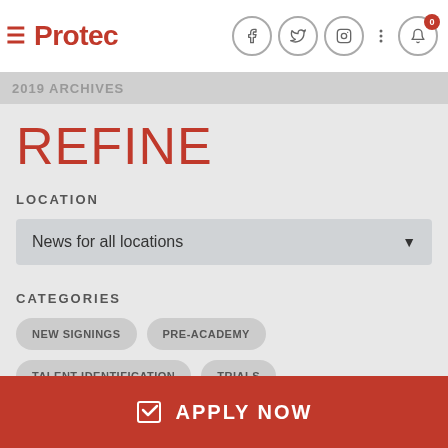Protec
2019 ARCHIVES
REFINE
LOCATION
News for all locations
CATEGORIES
NEW SIGNINGS
PRE-ACADEMY
TALENT IDENTIFICATION
TRIALS
APPLY NOW